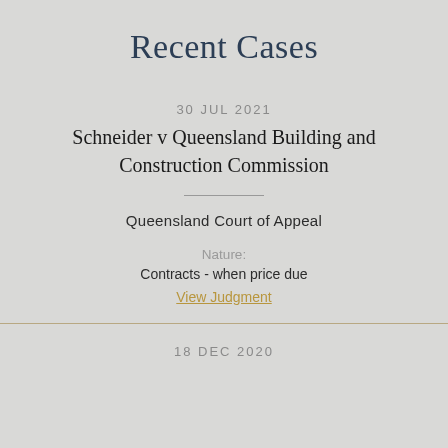Recent Cases
30 JUL 2021
Schneider v Queensland Building and Construction Commission
Queensland Court of Appeal
Nature:
Contracts - when price due
View Judgment
18 DEC 2020